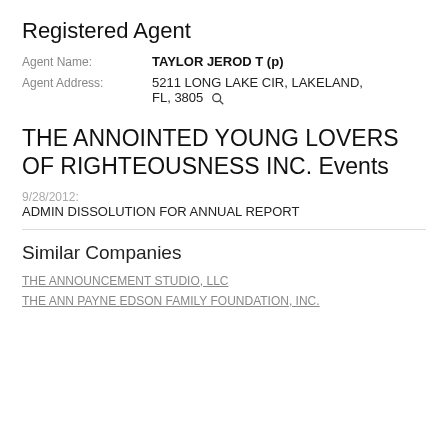Registered Agent
Agent Name: TAYLOR JEROD T (p)
Agent Address: 5211 LONG LAKE CIR, LAKELAND, FL, 3805
THE ANNOINTED YOUNG LOVERS OF RIGHTEOUSNESS INC. Events
9/28/2012: ADMIN DISSOLUTION FOR ANNUAL REPORT
Similar Companies
THE ANNOUNCEMENT STUDIO, LLC
THE ANN PAYNE EDSON FAMILY FOUNDATION, INC.